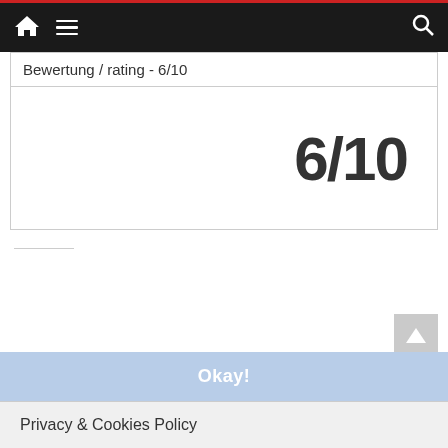Navigation bar with home, menu, and search icons
| Bewertung / rating - 6/10 |
| --- |
| 6/10 |
Related
Cookies helfen uns bei der Bereitstellung unserer Inhalte und Dienste. Durch die weitere Nutzung der Webseite stimmen Sie der Verwendung von Cookies zu.
Wild Dayz 2022
2022-06-26
In "Festivals / Events"
Jorn – Over the Horizon Radar
2022-07-05
In "CD"
Mors Subita – Into the Pitch Black
2019-04-06
Okay!
Privacy & Cookies Policy